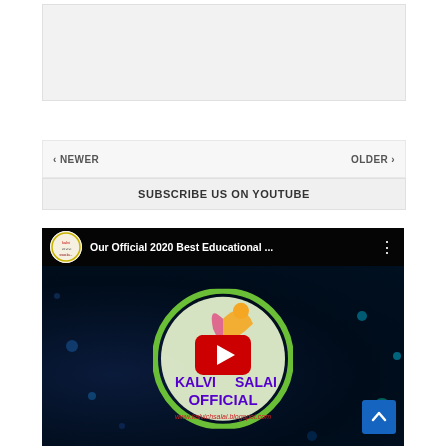[Figure (other): Gray placeholder box at top of page]
< NEWER
OLDER >
SUBSCRIBE US ON YOUTUBE
[Figure (screenshot): YouTube video embed showing 'Our Official 2020 Best Educational ...' with Kalvichsalai Official channel logo and play button. The thumbnail shows a circular green-bordered logo with text 'KALVICHSALAI OFFICIAL' and website www.kalvichsalai.blogspot.com on a dark starry background.]